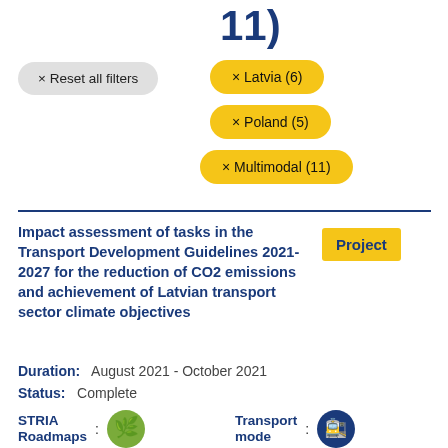11)
× Reset all filters
× Latvia (6)
× Poland (5)
× Multimodal (11)
Impact assessment of tasks in the Transport Development Guidelines 2021-2027 for the reduction of CO2 emissions and achievement of Latvian transport sector climate objectives
Project
Duration: August 2021 - October 2021
Status: Complete
STRIA Roadmaps :
Transport mode :